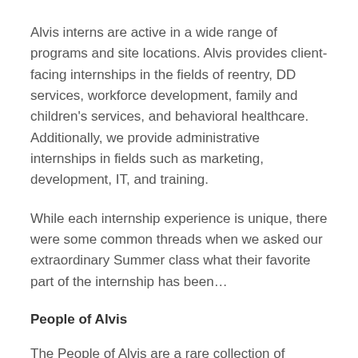Alvis interns are active in a wide range of programs and site locations. Alvis provides client-facing internships in the fields of reentry, DD services, workforce development, family and children's services, and behavioral healthcare. Additionally, we provide administrative internships in fields such as marketing, development, IT, and training.
While each internship experience is unique, there were some common threads when we asked our extraordinary Summer class what their favorite part of the internship has been…
People of Alvis
The People of Alvis are a rare collection of individuals who have huge capacities for love and understanding. They are related to beaments with